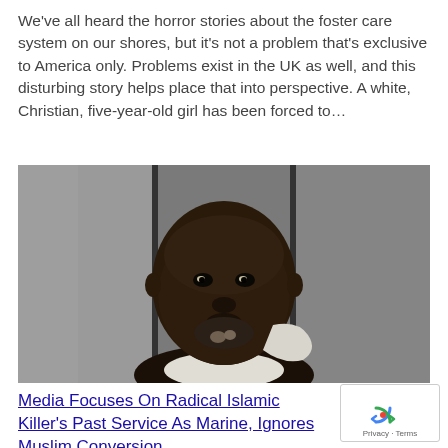We've all heard the horror stories about the foster care system on our shores, but it's not a problem that's exclusive to America only. Problems exist in the UK as well, and this disturbing story helps place that into perspective. A white, Christian, five-year-old girl has been forced to…
[Figure (photo): Mugshot-style photograph of a man against a gray background with vertical dividers]
Media Focuses On Radical Islamic Killer's Past Service As Marine, Ignores Muslim Conversion